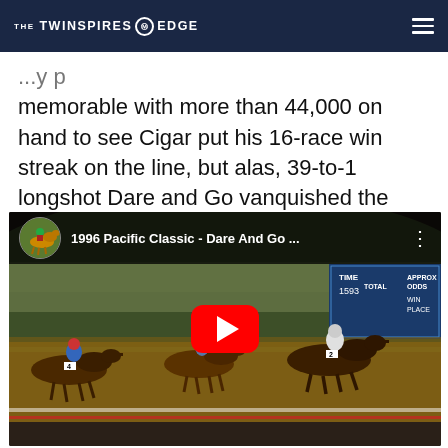THE TWINSPIRES ⓜ EDGE
memorable with more than 44,000 on hand to see Cigar put his 16-race win streak on the line, but alas, 39-to-1 longshot Dare and Go vanquished the Horse of the Year.
[Figure (screenshot): YouTube video embed showing 1996 Pacific Classic - Dare And Go ... with horse racing photo as thumbnail, featuring horses racing on a dirt track with jockeys, scoreboard visible in background showing APPROX ODDS, WIN, PLACE. Red YouTube play button centered over image.]